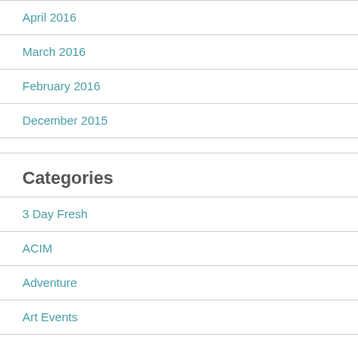April 2016
March 2016
February 2016
December 2015
Categories
3 Day Fresh
ACIM
Adventure
Art Events